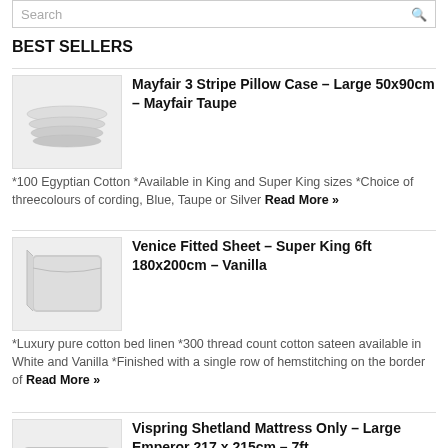Search
BEST SELLERS
Mayfair 3 Stripe Pillow Case – Large 50x90cm – Mayfair Taupe
*100 Egyptian Cotton *Available in King and Super King sizes *Choice of threecolours of cording, Blue, Taupe or Silver Read More »
Venice Fitted Sheet – Super King 6ft 180x200cm – Vanilla
*Luxury pure cotton bed linen *300 thread count cotton sateen available in White and Vanilla *Finished with a single row of hemstitching on the border of Read More »
Vispring Shetland Mattress Only – Large Emperor 217 x 215cm – 7ft
. *Mattress Springs:1,720 luxury pocket springs in 50 150cm, 1.32mm Vanadium steel springs, 48mm in diameter, sewn in individual calico pockets and hand-formed into a honeycomb-nested Read More »